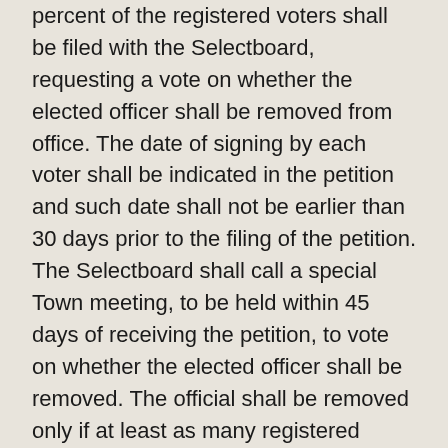percent of the registered voters shall be filed with the Selectboard, requesting a vote on whether the elected officer shall be removed from office. The date of signing by each voter shall be indicated in the petition and such date shall not be earlier than 30 days prior to the filing of the petition. The Selectboard shall call a special Town meeting, to be held within 45 days of receiving the petition, to vote on whether the elected officer shall be removed. The official shall be removed only if at least as many registered voters of the Town vote as voted in the election wherein the officer was elected or at least one-third of the registered voters of the Town vote, whichever is greater, and a majority of the number of votes is cast for removal.
(B) If the Town votes for removal of an elected officer, the office shall thereupon become vacant, and the Selectboard shall call a special election to fill the vacancy.